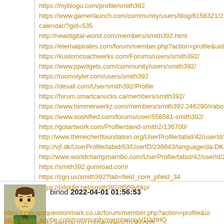https://myblogu.com/profile/smith392
https://www.gamerlaunch.com/community/users/blog/6156321/2148781/calendar/?gid=535
http://newdigital-world.com/members/smith392.html
https://eternalpirates.com/forum/member.php?action=profile&uid=5142
https://kustomcoachwerks.com/Forums/users/smith392/
https://www.jqwidgets.com/community/users/smith392/
https://roomstyler.com/users/smith392
https://desall.com/User/smith392/Profile
https://forum.smartcanucks.ca/members/smith392/
https://www.bimmerwerkz.com/members/smith392.246290/#about
https://www.soshified.com/forums/user/558581-smith392/
https://gotartwork.com/Profile/david-smith2/136700/
http://www.thereichertfoundation.org/UserProfile/tabid/42/userId/182372
http://vjf.dk/UserProfile/tabid/63/UserID/238643/language/da-DK/Default
http://www.worldchampmambo.com/UserProfile/tabid/42/userId/232301/
https://smith392.gumroad.com/
https://cgn.us/smith392?tab=field_core_pfield_34
https://jsfiddle.net/smith392/q569ybkp/
[Figure (photo): Avatar image of user binod - cartoon style illustration of a person with green shirt]
binod 2022-04-01 01:56:53
https://therapyquestionmark.co.uk/forum/member.php?action=profile&ui
https://printable-calendar.mn.co/members/10360505
https://edex.adobe.com/community/member/xyV1OdIHQ
https://www.amazon.com/gp/profile/amzn1.account.AEBZTPHS7XXB52